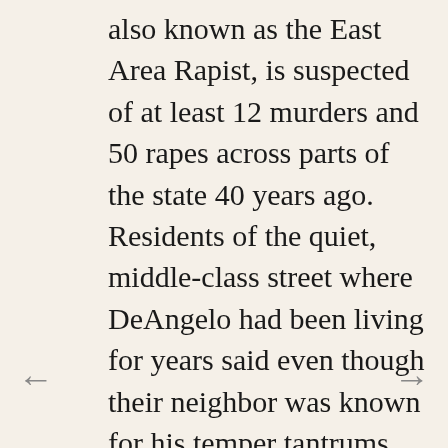also known as the East Area Rapist, is suspected of at least 12 murders and 50 rapes across parts of the state 40 years ago. Residents of the quiet, middle-class street where DeAngelo had been living for years said even though their neighbor was known for his temper tantrums, they were shocked to learn he was suspected of being a serial killer. They said DeAngelo - a Vietnam War veteran, former police officer and grandfather - would mostly keep